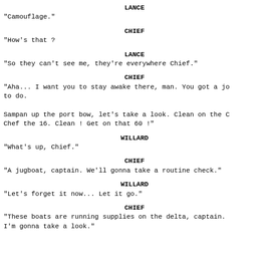LANCE
"Camouflage."
CHIEF
"How's that ?
LANCE
"So they can't see me, they're everywhere Chief."
CHIEF
"Aha... I want you to stay awake there, man. You got a jo to do.

Sampan up the port bow, let's take a look. Clean on the C Chef the 16. Clean ! Get on that 60 !"
WILLARD
"What's up, Chief."
CHIEF
"A jugboat, captain. We'll gonna take a routine check."
WILLARD
"Let's forget it now... Let it go."
CHIEF
"These boats are running supplies on the delta, captain. I'm gonna take a look."